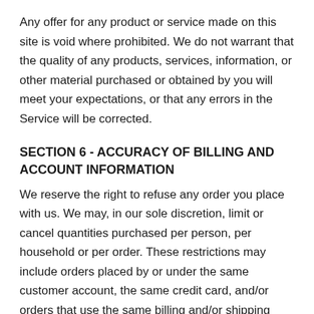Any offer for any product or service made on this site is void where prohibited. We do not warrant that the quality of any products, services, information, or other material purchased or obtained by you will meet your expectations, or that any errors in the Service will be corrected.
SECTION 6 - ACCURACY OF BILLING AND ACCOUNT INFORMATION
We reserve the right to refuse any order you place with us. We may, in our sole discretion, limit or cancel quantities purchased per person, per household or per order. These restrictions may include orders placed by or under the same customer account, the same credit card, and/or orders that use the same billing and/or shipping address. In the event that we make a change to or cancel an order, we may attempt to notify you by contacting the e-mail